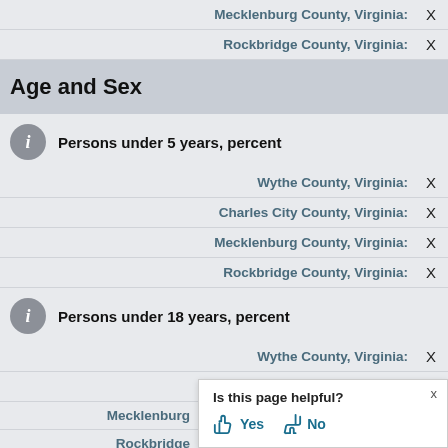Mecklenburg County, Virginia: X
Rockbridge County, Virginia: X
Age and Sex
Persons under 5 years, percent
Wythe County, Virginia: X
Charles City County, Virginia: X
Mecklenburg County, Virginia: X
Rockbridge County, Virginia: X
Persons under 18 years, percent
Wythe County, Virginia: X
Charles City County, Virginia: X
Mecklenburg County, Virginia: X
Rockbridge County, Virginia: X
Is this page helpful? Yes No